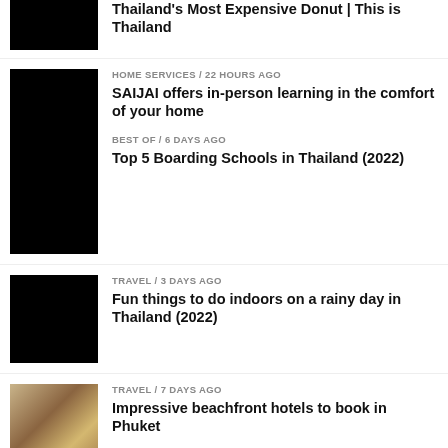[Figure (photo): Black image thumbnail for Thailand donut article (partially visible at top)]
Thailand's Most Expensive Donut | This is Thailand
[Figure (photo): Black image thumbnail for SAIJAI home learning article]
HOME SERVICES / 22 hours ago
SAIJAI offers in-person learning in the comfort of your home
BEST OF / 6 days ago
Top 5 Boarding Schools in Thailand (2022)
[Figure (photo): Black image thumbnail for rainy day in Thailand article]
TRAVEL / 3 days ago
Fun things to do indoors on a rainy day in Thailand (2022)
[Figure (photo): Hotel room image for Phuket beachfront hotels article]
TRAVEL / 7 days ago
Impressive beachfront hotels to book in Phuket
[Figure (photo): Green outdoor/nature thumbnail (partially visible at bottom)]
TRAVEL / 4 days ago